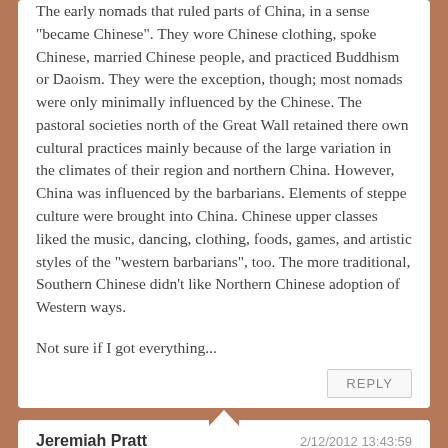The early nomads that ruled parts of China, in a sense "became Chinese". They wore Chinese clothing, spoke Chinese, married Chinese people, and practiced Buddhism or Daoism. They were the exception, though; most nomads were only minimally influenced by the Chinese. The pastoral societies north of the Great Wall retained there own cultural practices mainly because of the large variation in the climates of their region and northern China. However, China was influenced by the barbarians. Elements of steppe culture were brought into China. Chinese upper classes liked the music, dancing, clothing, foods, games, and artistic styles of the "western barbarians", too. The more traditional, Southern Chinese didn't like Northern Chinese adoption of Western ways.
Not sure if I got everything...
REPLY
Jeremiah Pratt
2/12/2012 13:43:59
That's all stuff regarding cultural exchange... I think that it's also important to recognize the reverse tributary relationship between the nomads and the Chinese. While